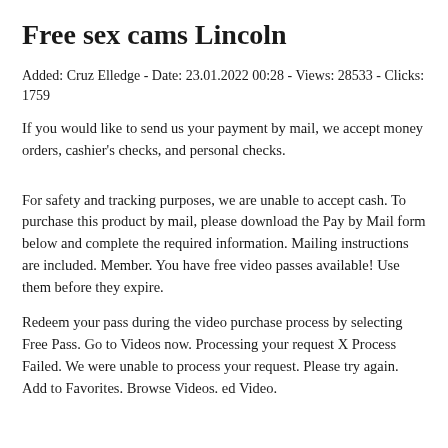Free sex cams Lincoln
Added: Cruz Elledge - Date: 23.01.2022 00:28 - Views: 28533 - Clicks: 1759
If you would like to send us your payment by mail, we accept money orders, cashier's checks, and personal checks.
For safety and tracking purposes, we are unable to accept cash. To purchase this product by mail, please download the Pay by Mail form below and complete the required information. Mailing instructions are included. Member. You have free video passes available! Use them before they expire.
Redeem your pass during the video purchase process by selecting Free Pass. Go to Videos now. Processing your request X Process Failed. We were unable to process your request. Please try again. Add to Favorites. Browse Videos. ed Video.